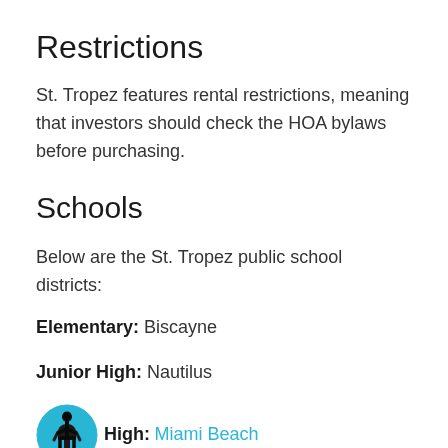Restrictions
St. Tropez features rental restrictions, meaning that investors should check the HOA bylaws before purchasing.
Schools
Below are the St. Tropez public school districts:
Elementary: Biscayne
Junior High: Nautilus
High: Miami Beach